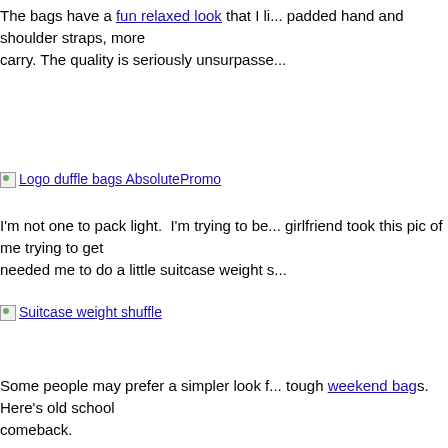The bags have a fun relaxed look that I li... padded hand and shoulder straps, more ... carry. The quality is seriously unsurpasse...
[Figure (photo): Logo duffle bags AbsolutePromo - image placeholder with link]
I'm not one to pack light. I'm trying to be... girlfriend took this pic of me trying to get ... needed me to do a little suitcase weight s...
[Figure (photo): Suitcase weight shuffle - image placeholder with link]
Some people may prefer a simpler look f... tough weekend bags. Here's old school ... comeback.
[Figure (photo): Leather duffle bag with logo corporate Absolutepromo - image placeholder with link]
Whatever bags you're looking for, you ha... options. Give me a shout. I'll send you s... funk up your SWAG bags.